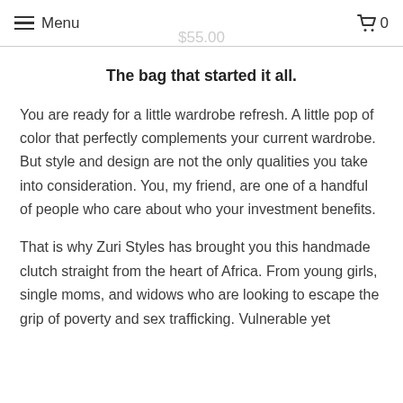Menu  0
$55.00
The bag that started it all.
You are ready for a little wardrobe refresh. A little pop of color that perfectly complements your current wardrobe. But style and design are not the only qualities you take into consideration. You, my friend, are one of a handful of people who care about who your investment benefits.
That is why Zuri Styles has brought you this handmade clutch straight from the heart of Africa. From young girls, single moms, and widows who are looking to escape the grip of poverty and sex trafficking. Vulnerable yet